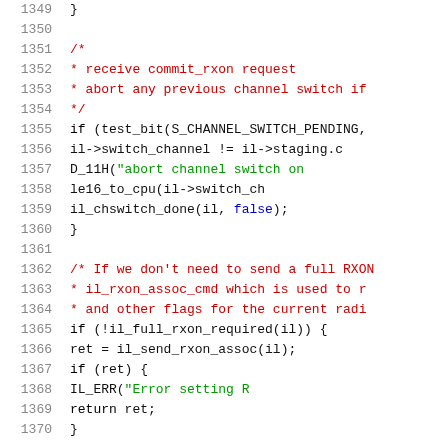Source code listing, lines 1349-1370, C language kernel driver code